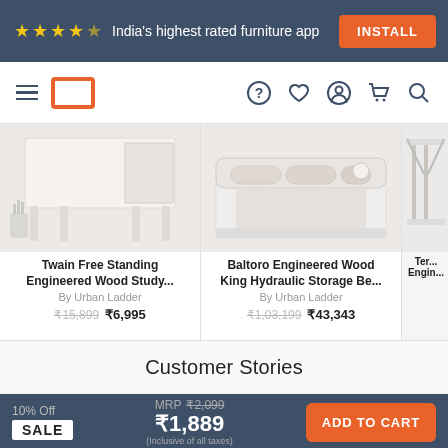India's highest rated furniture app  INSTALL
[Figure (screenshot): Navigation bar with hamburger menu, logo, help, wishlist, account, cart, search icons]
[Figure (photo): Twain Free Standing Engineered Wood Study table product image]
Twain Free Standing Engineered Wood Study...
By Urban Ladder
₹15,899  ₹6,995
[Figure (photo): Baltoro Engineered Wood King Hydraulic Storage Bed product image]
Baltoro Engineered Wood King Hydraulic Storage Be...
By Urban Ladder
₹1,03,199  ₹43,343
Customer Stories
10% Off  SALE  MRP ₹2,099  ₹1,889  (Inclusive of all taxes)  ADD TO CART